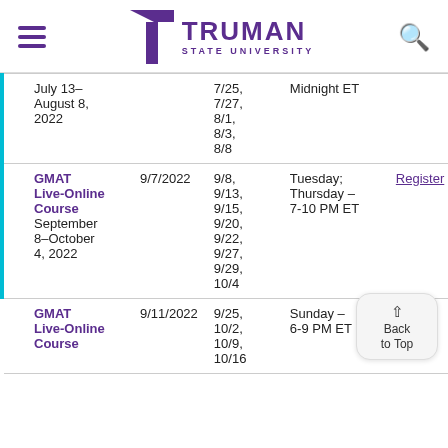Truman State University
| Course | Registration Deadline | Class Dates | Schedule | Link |
| --- | --- | --- | --- | --- |
| July 13–August 8, 2022 |  | 7/25, 7/27, 8/1, 8/3, 8/8 | Midnight ET |  |
| GMAT Live-Online Course September 8–October 4, 2022 | 9/7/2022 | 9/8, 9/13, 9/15, 9/20, 9/22, 9/27, 9/29, 10/4 | Tuesday; Thursday – 7-10 PM ET | Register |
| GMAT Live-Online Course | 9/11/2022 | 9/25, 10/2, 10/9, 10/16 | Sunday – 6-9 PM ET |  |